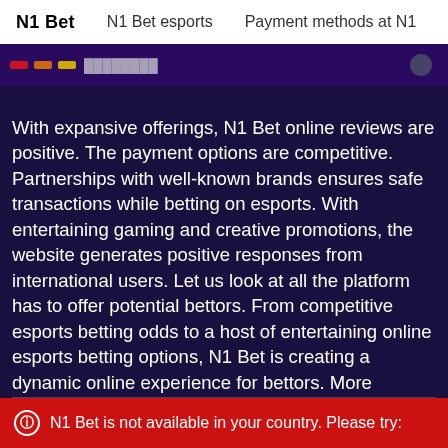N1 Bet   N1 Bet esports   Payment methods at N1
With expansive offerings, N1 Bet online reviews are positive. The payment options are competitive. Partnerships with well-known brands ensures safe transactions while betting on esports. With entertaining gaming and creative promotions, the website generates positive responses from international users. Let us look at all the platform has to offer potential bettors. From competitive esports betting odds to a host of entertaining online esports betting options, N1 Bet is creating a dynamic online experience for bettors. More gamblers are checking out the website. With 4.5/5 stars from online reviews, the online reviews continue to enhance the platform's good reputation.
N1 Bet is not available in your country. Please try: